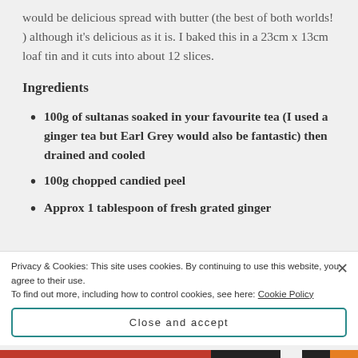would be delicious spread with butter (the best of both worlds! ) although it's delicious as it is. I baked this in a 23cm x 13cm loaf tin and it cuts into about 12 slices.
Ingredients
100g of sultanas soaked in your favourite tea (I used a ginger tea but Earl Grey would also be fantastic) then drained and cooled
100g chopped candied peel
Approx 1 tablespoon of fresh grated ginger
Privacy & Cookies: This site uses cookies. By continuing to use this website, you agree to their use.
To find out more, including how to control cookies, see here: Cookie Policy
Close and accept